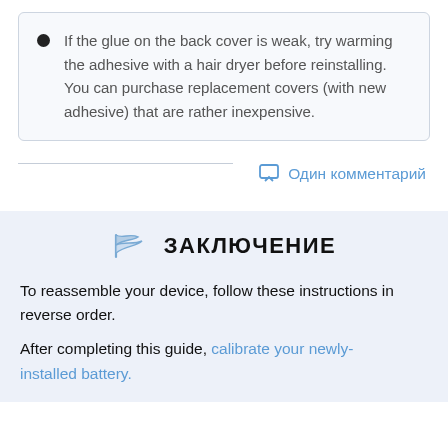If the glue on the back cover is weak, try warming the adhesive with a hair dryer before reinstalling. You can purchase replacement covers (with new adhesive) that are rather inexpensive.
Один комментарий
ЗАКЛЮЧЕНИЕ
To reassemble your device, follow these instructions in reverse order.
After completing this guide, calibrate your newly-installed battery.